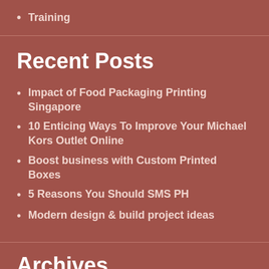Training
Recent Posts
Impact of Food Packaging Printing Singapore
10 Enticing Ways To Improve Your Michael Kors Outlet Online
Boost business with Custom Printed Boxes
5 Reasons You Should SMS PH
Modern design & build project ideas
Archives